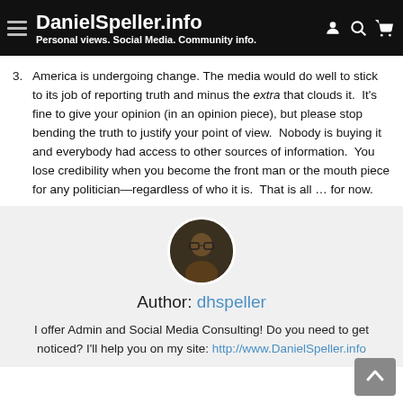DanielSpeller.info — Personal views. Social Media. Community info.
3. America is undergoing change. The media would do well to stick to its job of reporting truth and minus the extra that clouds it. It's fine to give your opinion (in an opinion piece), but please stop bending the truth to justify your point of view. Nobody is buying it and everybody had access to other sources of information. You lose credibility when you become the front man or the mouth piece for any politician—regardless of who it is. That is all … for now.
[Figure (photo): Circular profile photo of the author dhspeller]
Author: dhspeller
I offer Admin and Social Media Consulting! Do you need to get noticed? I'll help you on my site: http://www.DanielSpeller.info